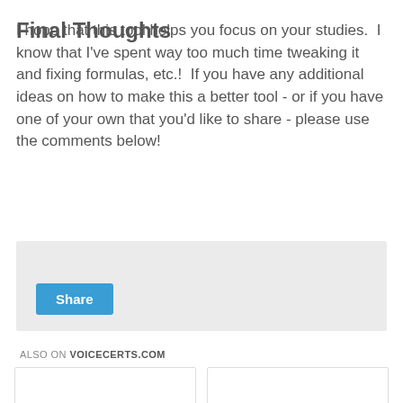Final Thoughts
I hope that this tool helps you focus on your studies.  I know that I've spent way too much time tweaking it and fixing formulas, etc.!  If you have any additional ideas on how to make this a better tool - or if you have one of your own that you'd like to share - please use the comments below!
[Figure (other): Share button widget with light gray background]
ALSO ON VOICECERTS.COM
[Figure (other): Two article cards with left and right navigation chevron arrows, part of a carousel widget]